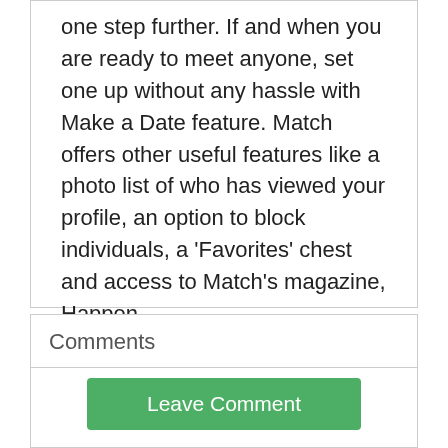one step further. If and when you are ready to meet anyone, set one up without any hassle with Make a Date feature. Match offers other useful features like a photo list of who has viewed your profile, an option to block individuals, a 'Favorites' chest and access to Match's magazine, Happen.
Subscribe to Match.com for one, three or six months and make use of all its advantages. You may also choose Value Plans to have your profile highlighted on all search pages. Keep your personal details safe with Match's personalized email ID and phone number. Sign up today and be on your marvelous journey to find your soul mate.
Comments